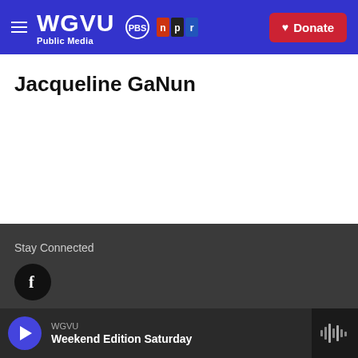WGVU Public Media PBS NPR Donate
Jacqueline GaNun
Stay Connected
[Figure (logo): Facebook icon circle button]
© 2022 WGVU
WGVU Weekend Edition Saturday